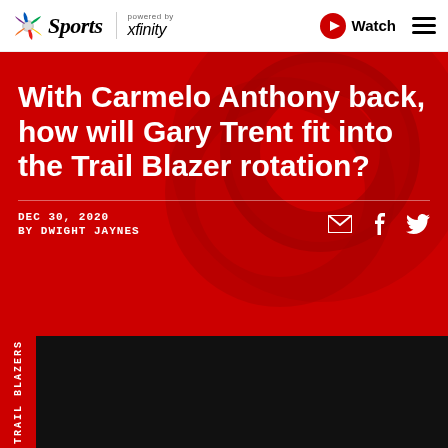NBC Sports powered by xfinity — Watch
With Carmelo Anthony back, how will Gary Trent fit into the Trail Blazer rotation?
DEC 30, 2020
BY DWIGHT JAYNES
[Figure (photo): Dark/black media photo area with TRAIL BLAZERS vertical label on left side]